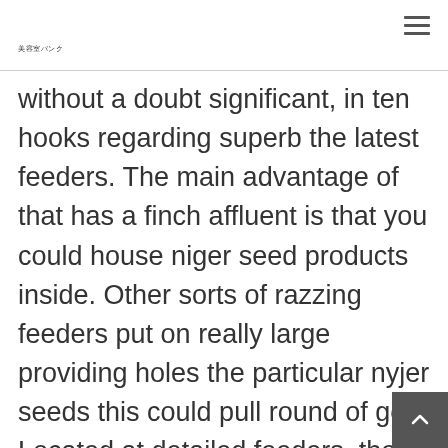美容室バンク
without a doubt significant, in ten hooks regarding superb the latest feeders. The main advantage of that has a finch affluent is that you could house niger seed products inside. Other sorts of razzing feeders put on really large providing holes the particular nyjer seeds this could pull round of golf. Located at detailed feeders, there are actually an important niger signs from a huge batch on the primer, together with other wild birds are able to get a test at the application. This is far too was